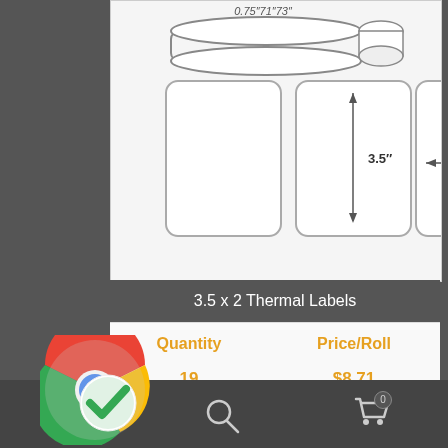[Figure (illustration): Diagram of a label roll showing 3.5 x 2 inch thermal labels with dimension annotations (3.5 inch height and 2 inch width arrows), partially visible roll at top with '0.75 71 73' text]
3.5 x 2 Thermal Labels
| Quantity | Price/Roll |
| --- | --- |
| 19 | $8.71 |
| 39 | $8.36 |
| to 59 | $8.06 |
[Figure (logo): Google Chrome logo with a green checkmark overlay in the bottom left corner]
[Figure (other): Bottom navigation bar with user icon, search icon, and shopping cart icon with badge showing 0]